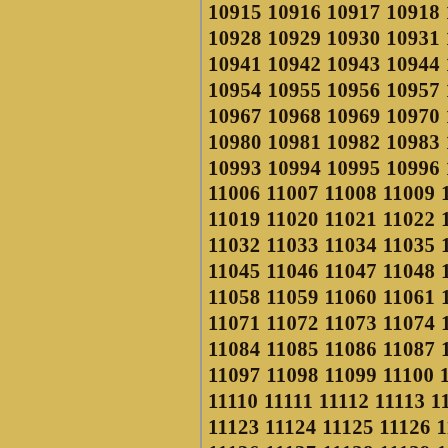10915 10916 10917 10918 10919 10920 10928 10929 10930 10931 10932 10933 10941 10942 10943 10944 10945 10946 10954 10955 10956 10957 10958 10959 10967 10968 10969 10970 10971 10972 10980 10981 10982 10983 10984 10985 10993 10994 10995 10996 10997 10998 11006 11007 11008 11009 11010 11011 11019 11020 11021 11022 11023 11024 11032 11033 11034 11035 11036 11037 11045 11046 11047 11048 11049 11050 11058 11059 11060 11061 11062 11063 11071 11072 11073 11074 11075 11076 11084 11085 11086 11087 11088 11089 11097 11098 11099 11100 11101 11102 11110 11111 11112 11113 11114 11115 11123 11124 11125 11126 11127 11128 11136 11137 11138 11139 11140 11141 11149 11150 11151 11152 11153 11154 11162 11163 11164 11165 11166 11167 11175 11176 11177 11178 11179 11180 11188 11189 11190 11191 11192 11193